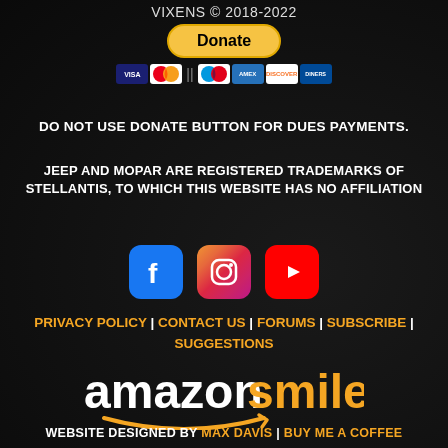VIXENS © 2018-2022
[Figure (other): PayPal Donate button with payment card icons (Visa, Mastercard, Maestro, Amex, Discover, Diners)]
DO NOT USE DONATE BUTTON FOR DUES PAYMENTS.
JEEP AND MOPAR ARE REGISTERED TRADEMARKS OF STELLANTIS, TO WHICH THIS WEBSITE HAS NO AFFILIATION
[Figure (other): Social media icons: Facebook, Instagram, YouTube]
PRIVACY POLICY | CONTACT US | FORUMS | SUBSCRIBE | SUGGESTIONS
[Figure (logo): Amazon Smile logo - white 'amazon' text with orange smile arrow and orange 'smile' text]
WEBSITE DESIGNED BY MAX DAVIS | BUY ME A COFFEE